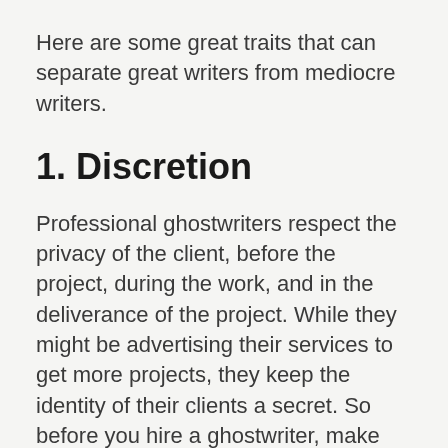Here are some great traits that can separate great writers from mediocre writers.
1. Discretion
Professional ghostwriters respect the privacy of the client, before the project, during the work, and in the deliverance of the project. While they might be advertising their services to get more projects, they keep the identity of their clients a secret. So before you hire a ghostwriter, make sure to ask for referrals and reviews from prior